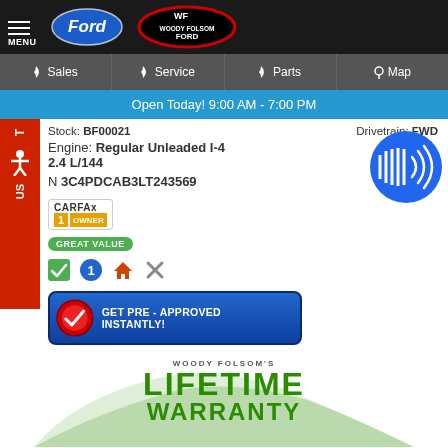[Figure (screenshot): Woody Folsom Ford dealership website header with Ford oval logo and Woody Folsom Ford logo on dark background with hamburger menu icon and MENU text]
Sales | Service | Parts | Map
Open Today! 9:00 AM - 7:00 PM
Stock: BF00021   Drivetrain: FWD
Engine: Regular Unleaded I-4 2.4 L/144
N 3C4PDCAB3LT243569
[Figure (logo): CARFAX 1 Owner badge with Great Value green badge]
[Figure (infographic): Row of small icons: green checkmark, blue circle with 1, house icon, wrench/tools icon]
[Figure (infographic): Blue GET PRE-APPROVED INSTANTLY! button with red checkmark circle]
[Figure (logo): Woody Folsom's Lifetime Warranty logo in green with swoosh graphic at bottom of page]